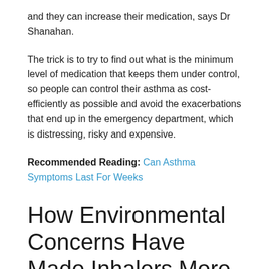and they can increase their medication, says Dr Shanahan.
The trick is to try to find out what is the minimum level of medication that keeps them under control, so people can control their asthma as cost-efficiently as possible and avoid the exacerbations that end up in the emergency department, which is distressing, risky and expensive.
Recommended Reading: Can Asthma Symptoms Last For Weeks
How Environmental Concerns Have Made Inhalers More Expensive
Up until 2005, available inhalers contained